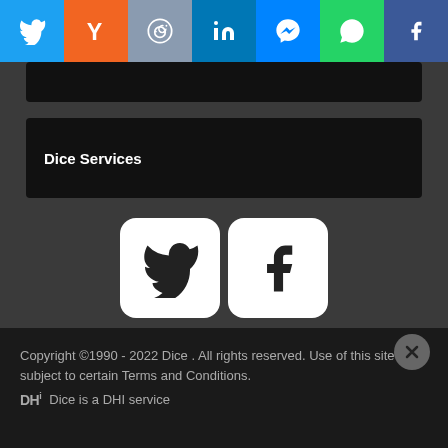[Figure (screenshot): Social sharing bar with icons: Twitter (blue), Hacker News Y (orange), Reddit (grey-blue), LinkedIn (blue), Messenger (blue), WhatsApp (green), Facebook (dark blue)]
Dice Services
[Figure (screenshot): Two white rounded square icons: Twitter bird icon and Facebook f icon]
[Figure (screenshot): Google Play store download button - black rounded rectangle with GET IT ON Google Play text and play triangle logo]
[Figure (screenshot): Apple App Store download button - black rounded rectangle with Download on the App Store text and Apple logo]
Copyright ©1990 - 2022 Dice . All rights reserved. Use of this site is subject to certain Terms and Conditions. DHI Dice is a DHI service